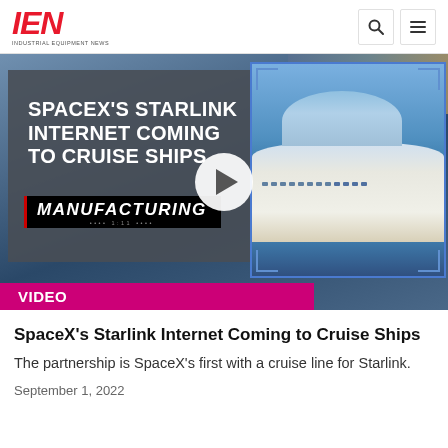IEN | Industrial Equipment News
[Figure (screenshot): Video thumbnail showing SpaceX's Starlink Internet Coming to Cruise Ships with a play button overlay, Manufacturing brand logo, and a cruise ship image on right side. Navigation dots at bottom.]
VIDEO
SpaceX's Starlink Internet Coming to Cruise Ships
The partnership is SpaceX's first with a cruise line for Starlink.
September 1, 2022